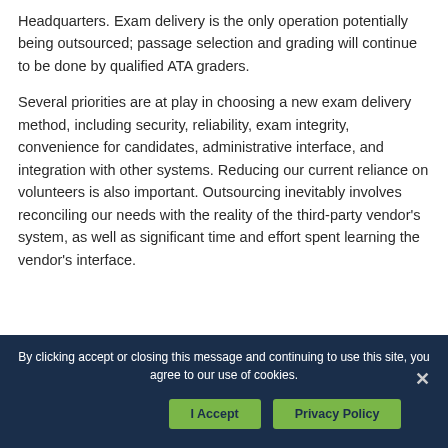Headquarters. Exam delivery is the only operation potentially being outsourced; passage selection and grading will continue to be done by qualified ATA graders.
Several priorities are at play in choosing a new exam delivery method, including security, reliability, exam integrity, convenience for candidates, administrative interface, and integration with other systems. Reducing our current reliance on volunteers is also important. Outsourcing inevitably involves reconciling our needs with the reality of the third-party vendor's system, as well as significant time and effort spent learning the vendor's interface.
By clicking accept or closing this message and continuing to use this site, you agree to our use of cookies.